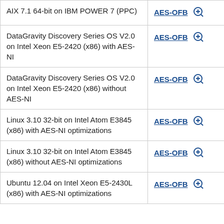| Platform | Algorithm |
| --- | --- |
| AIX 7.1 64-bit on IBM POWER 7 (PPC) | AES-OFB |
| DataGravity Discovery Series OS V2.0 on Intel Xeon E5-2420 (x86) with AES-NI | AES-OFB |
| DataGravity Discovery Series OS V2.0 on Intel Xeon E5-2420 (x86) without AES-NI | AES-OFB |
| Linux 3.10 32-bit on Intel Atom E3845 (x86) with AES-NI optimizations | AES-OFB |
| Linux 3.10 32-bit on Intel Atom E3845 (x86) without AES-NI optimizations | AES-OFB |
| Ubuntu 12.04 on Intel Xeon E5-2430L (x86) with AES-NI optimizations | AES-OFB |